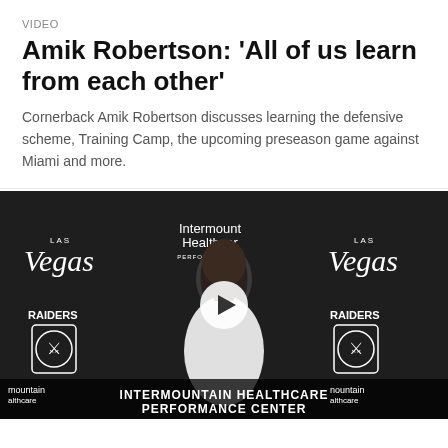VIDEO
Amik Robertson: 'All of us learn from each other'
Cornerback Amik Robertson discusses learning the defensive scheme, Training Camp, the upcoming preseason game against Miami and more.
[Figure (photo): Video thumbnail showing Amik Robertson at a press conference podium in front of a Las Vegas Raiders branded backdrop with Intermountain Healthcare Performance Center signage. A play button overlay is visible in the center.]
VIDEO